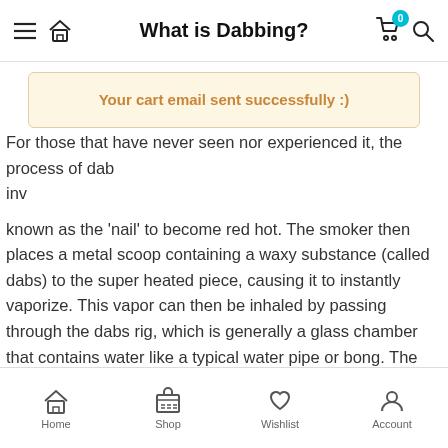What is Dabbing?
[Figure (screenshot): Toast notification: Your cart email sent successfully :)]
For those that have never seen nor experienced it, the process of dabbing can look quite intimidating to those unfamiliar, involving a piece known as the ‘nail’ to become red hot. The smoker then places a metal scoop containing a waxy substance (called dabs) to the super heated piece, causing it to instantly vaporize. This vapor can then be inhaled by passing through the dabs rig, which is generally a glass chamber that contains water like a typical water pipe or bong. The process sounds somewhat complicated on paper, but is actually rather simple in practice. Still though, it can look intimidating to those unfamiliar with the process.
The reasons for this are twofold. For one, because vapor is less harsh on the lungs than regular smoke, experienced smokers often
Home  Shop  Wishlist  Account